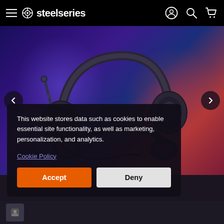steelseries — navigation bar with hamburger menu, logo, account, search, and cart icons
[Figure (photo): SteelSeries gaming headset on a dark background with purple and red/orange ambient lighting. Two headphones are shown — one upright with a microphone visible, one lying flat. Carousel navigation arrows on left and right sides.]
This website stores data such as cookies to enable essential site functionality, as well as marketing, personalization, and analytics.
Cookie Policy
Accept
Deny